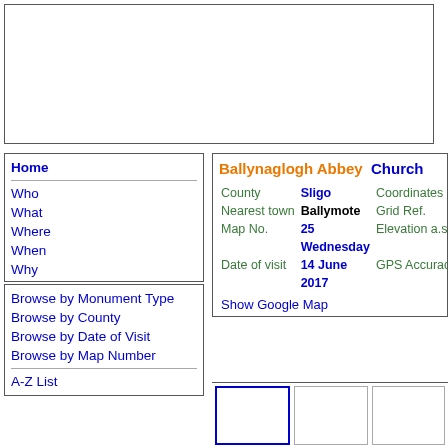[Figure (other): Advertisement banner box (empty/white)]
Home
Who
What
Where
When
Why
Browse by Monument Type
Browse by County
Browse by Date of Visit
Browse by Map Number
A-Z List
Ballynaglogh Abbey  Church
| Field | Value | Field2 | Value2 |
| --- | --- | --- | --- |
| County | Sligo | Coordinates |  |
| Nearest town | Ballymote | Grid Ref. |  |
| Map No. | 25 | Elevation a.s. |  |
| Date of visit | Wednesday
14 June
2017 | GPS Accura... |  |
Show Google Map
[Figure (photo): Three photo thumbnail boxes at the bottom of the info panel]